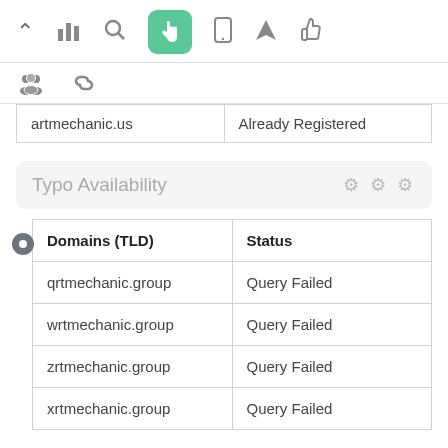[Figure (screenshot): Top toolbar with icons: up arrow, bar chart, search, hand/pointer (active, green background), phone, navigation arrow, thumbs up]
[Figure (screenshot): Second toolbar row with icons: people/group, chain link]
| artmechanic.us | Already Registered |
Typo Availability
| Domains (TLD) | Status |
| --- | --- |
| qrtmechanic.group | Query Failed |
| wrtmechanic.group | Query Failed |
| zrtmechanic.group | Query Failed |
| xrtmechanic.group | Query Failed |